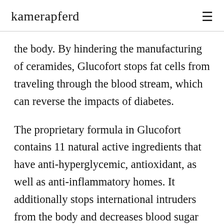kamerapferd
the body. By hindering the manufacturing of ceramides, Glucofort stops fat cells from traveling through the blood stream, which can reverse the impacts of diabetes.
The proprietary formula in Glucofort contains 11 natural active ingredients that have anti-hyperglycemic, antioxidant, as well as anti-inflammatory homes. It additionally stops international intruders from the body and decreases blood sugar degrees. Regardless of its all-natural active